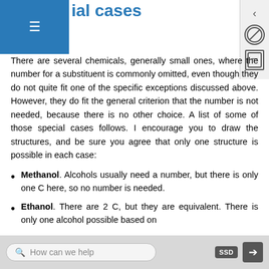ial cases
There are several chemicals, generally small ones, where the number for a substituent is commonly omitted, even though they do not quite fit one of the specific exceptions discussed above. However, they do fit the general criterion that the number is not needed, because there is no other choice. A list of some of those special cases follows. I encourage you to draw the structures, and be sure you agree that only one structure is possible in each case:
Methanol. Alcohols usually need a number, but there is only one C here, so no number is needed.
Ethanol. There are 2 C, but they are equivalent. There is only one alcohol possible based on
How can we help